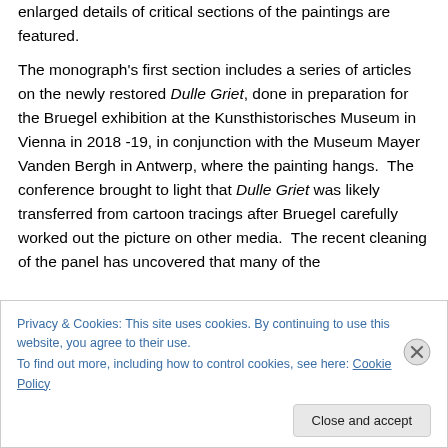enlarged details of critical sections of the paintings are featured.
The monograph's first section includes a series of articles on the newly restored Dulle Griet, done in preparation for the Bruegel exhibition at the Kunsthistorisches Museum in Vienna in 2018 -19, in conjunction with the Museum Mayer Vanden Bergh in Antwerp, where the painting hangs. The conference brought to light that Dulle Griet was likely transferred from cartoon tracings after Bruegel carefully worked out the picture on other media. The recent cleaning of the panel has uncovered that many of the
Privacy & Cookies: This site uses cookies. By continuing to use this website, you agree to their use.
To find out more, including how to control cookies, see here: Cookie Policy